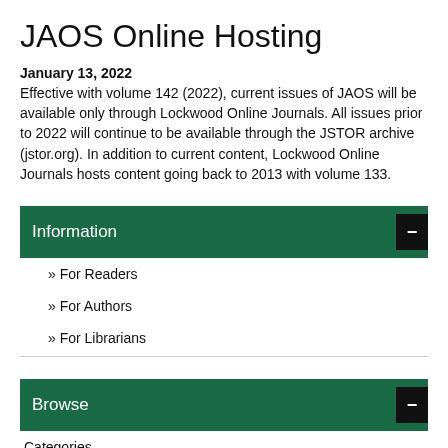JAOS Online Hosting
January 13, 2022
Effective with volume 142 (2022), current issues of JAOS will be available only through Lockwood Online Journals. All issues prior to 2022 will continue to be available through the JSTOR archive (jstor.org). In addition to current content, Lockwood Online Journals hosts content going back to 2013 with volume 133.
Information
» For Readers
» For Authors
» For Librarians
Browse
Categories
» Ancient Near East
» Islamic Studies